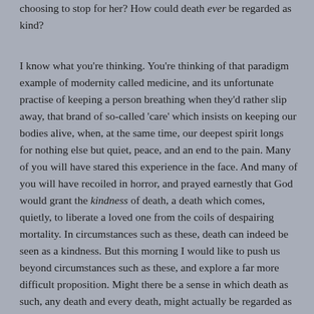choosing to stop for her?  How could death ever be regarded as kind?
I know what you're thinking.  You're thinking of that paradigm example of modernity called medicine, and its unfortunate practise of keeping a person breathing when they'd rather slip away, that brand of so-called 'care' which insists on keeping our bodies alive, when, at the same time, our deepest spirit longs for nothing else but quiet, peace, and an end to the pain.  Many of you will have stared this experience in the face.  And many of you will have recoiled in horror, and prayed earnestly that God would grant the kindness of death, a death which comes, quietly, to liberate a loved one from the coils of despairing mortality.  In circumstances such as these, death can indeed be seen as a kindness.  But this morning I would like to push us beyond circumstances such as these, and explore a far more difficult proposition. Might there be a sense in which death as such, any death and every death, might actually be regarded as a gift from God?